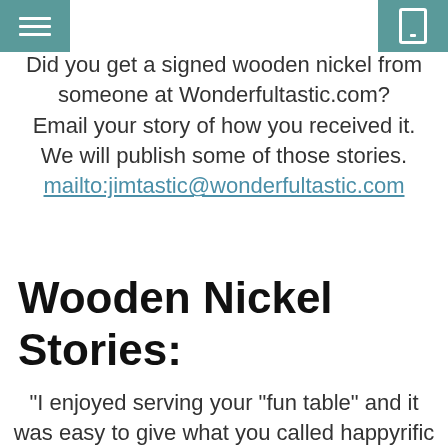Menu | Mobile
Did you get a signed wooden nickel from someone at Wonderfultastic.com? Email your story of how you received it. We will publish some of those stories. mailto:jimtastic@wonderfultastic.com
Wooden Nickel Stories:
"I enjoyed serving your "fun table" and it was easy to give what you called happyrific service! Thanks for my Nickel, I carry it every day to remind me work is